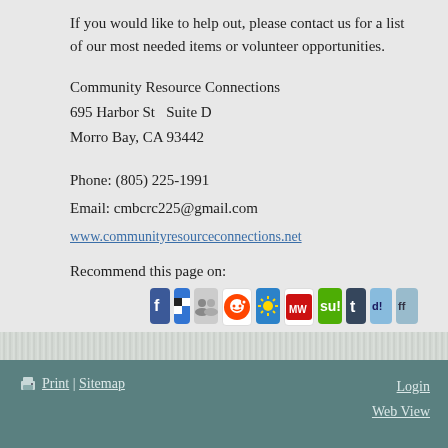If you would like to help out, please contact us for a list of our most needed items or volunteer opportunities.
Community Resource Connections
695 Harbor St  Suite D
Morro Bay, CA 93442
Phone: (805) 225-1991
Email: cmbcrc225@gmail.com
www.communityresourceconnections.net
Recommend this page on:
[Figure (infographic): Row of 10 social media sharing icons: Facebook, Delicious, Google Buzz, Reddit, Diigo, Mister Wong, StumbleUpon, Tumblr, Digg, FriendFeed]
Print | Sitemap    Login  Web View